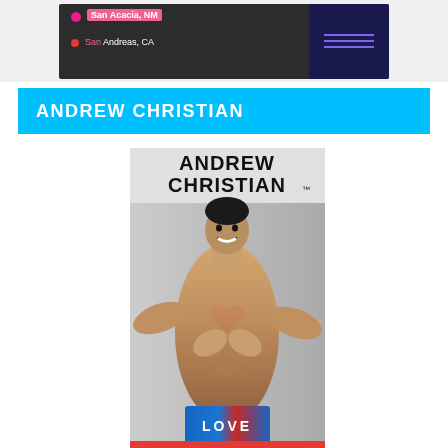[Figure (screenshot): Screenshot of a map/navigation app showing location pins for San Acacia, NM and San Andreas, CA with dark UI and purple sidebar]
ANDREW CHRISTIAN
[Figure (photo): Andrew Christian brand advertisement photo showing a smiling athletic model making a heart shape with his hands, wearing blue LOVE printed underwear, with Andrew Christian logo at the top]